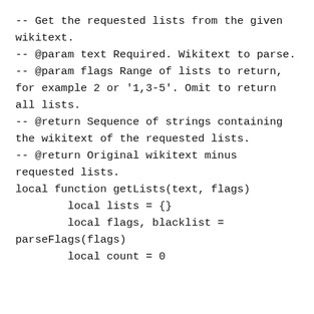-- Get the requested lists from the given wikitext.
-- @param text Required. Wikitext to parse.
-- @param flags Range of lists to return, for example 2 or '1,3-5'. Omit to return all lists.
-- @return Sequence of strings containing the wikitext of the requested lists.
-- @return Original wikitext minus requested lists.
local function getLists(text, flags)
        local lists = {}
        local flags, blacklist = parseFlags(flags)
        local count = 0